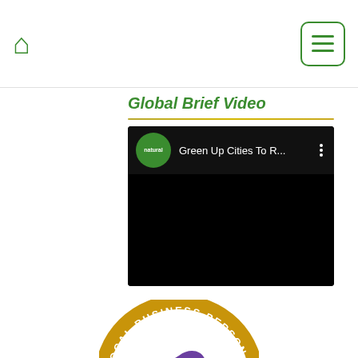Home icon and menu button
Global Brief Video
[Figure (screenshot): YouTube-style video embed showing 'Green Up Cities To R...' with Natural logo channel icon on black background]
[Figure (logo): Alignable Local Business Person of the Year circular badge with gold border and purple Alignable logo]